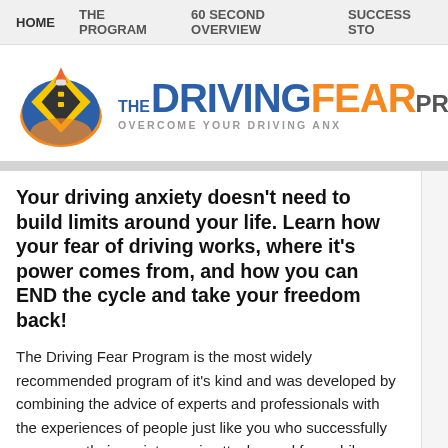HOME  THE PROGRAM  60 SECOND OVERVIEW  SUCCESS STO
[Figure (logo): The Driving Fear Program logo with stylized car/road icon and text 'THE DRIVING FEAR PROG' and tagline 'OVERCOME YOUR DRIVING ANX']
Your driving anxiety doesn't need to build limits around your life. Learn how your fear of driving works, where it's power comes from, and how you can END the cycle and take your freedom back!
The Driving Fear Program is the most widely recommended program of it's kind and was developed by combining the advice of experts and professionals with the experiences of people just like you who successfully overcame their anxiety, panic attacks, and fear while driving. Attention to the above for more...